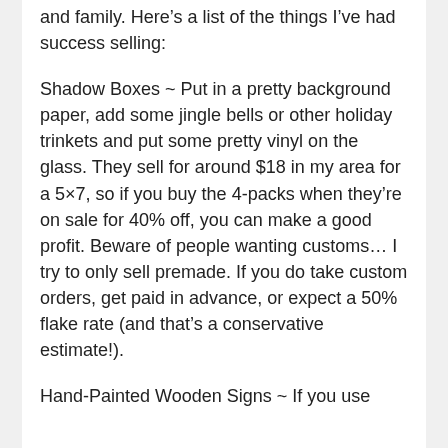and family.  Here's a list of the things I've had success selling:
Shadow Boxes ~ Put in a pretty background paper, add some jingle bells or other holiday trinkets and put some pretty vinyl on the glass.  They sell for around $18 in my area for a 5×7, so if you buy the 4-packs when they're on sale for 40% off, you can make a good profit.  Beware of people wanting customs… I try to only sell premade.  If you do take custom orders, get paid in advance, or expect a 50% flake rate (and that's a conservative estimate!).
Hand-Painted Wooden Signs ~ If you use